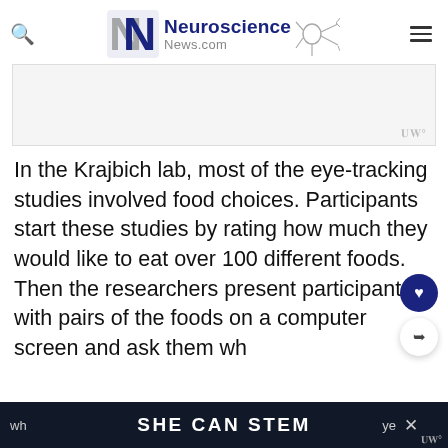Neuroscience News.com
[Figure (other): Advertisement placeholder area with watermark]
In the Krajbich lab, most of the eye-tracking studies involved food choices. Participants start these studies by rating how much they would like to eat over 100 different foods. Then the researchers present participants with pairs of the foods on a computer screen and ask them wh... ye...
SHE CAN STEM